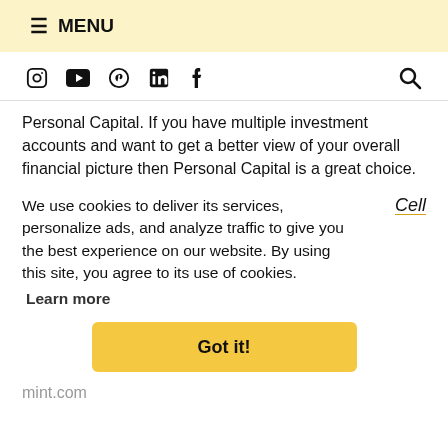≡ MENU
[Figure (infographic): Social media icons row: Instagram, YouTube, Pinterest, LinkedIn, Facebook, and a search icon on the right]
Personal Capital. If you have multiple investment accounts and want to get a better view of your overall financial picture then Personal Capital is a great choice.
We use cookies to deliver its services, personalize ads, and analyze traffic to give you the best experience on our website. By using this site, you agree to its use of cookies.
Cell
Learn more
Got it!
mint.com